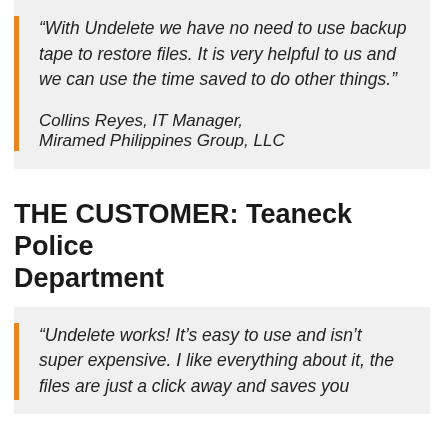“With Undelete we have no need to use backup tape to restore files. It is very helpful to us and we can use the time saved to do other things.”

Collins Reyes, IT Manager, Miramed Philippines Group, LLC
THE CUSTOMER: Teaneck Police Department
“Undelete works! It’s easy to use and isn’t super expensive. I like everything about it, the files are just a click away and saves you